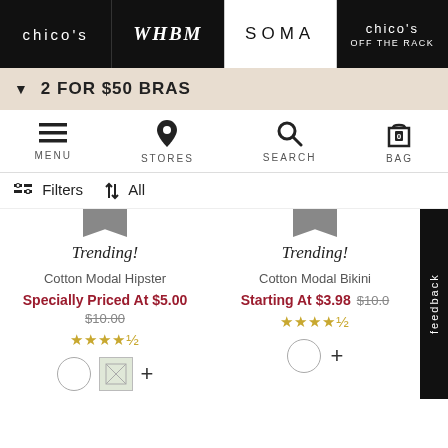chico's | WHBM | SOMA | chico's OFF THE RACK
2 FOR $50 BRAS
[Figure (screenshot): Navigation icon bar with MENU, STORES, SEARCH, BAG icons]
Filters | All
Trending! Cotton Modal Hipster Specially Priced At $5.00 $10.00 ★★★★½
Trending! Cotton Modal Bikini Starting At $3.98 $10.0 ★★★★½